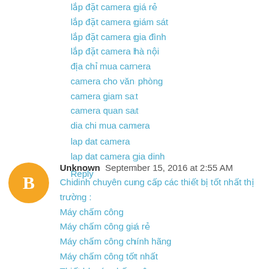lắp đặt camera giá rẻ
lắp đặt camera giám sát
lắp đặt camera gia đình
lắp đặt camera hà nội
địa chỉ mua camera
camera cho văn phòng
camera giam sat
camera quan sat
dia chi mua camera
lap dat camera
lap dat camera gia dinh
Reply
Unknown  September 15, 2016 at 2:55 AM
Chidinh chuyên cung cấp các thiết bị tốt nhất thị trường :
Máy chấm công
Máy chấm công giá rẻ
Máy chấm công chính hãng
Máy chấm công tốt nhất
Thiết bị máy chấm công